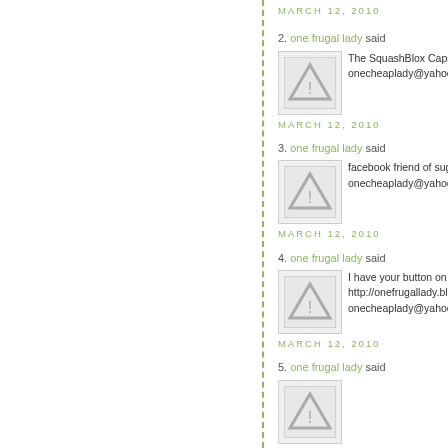MARCH 12, 2010
2. one frugal lady said... The SquashBlox Caps onecheaplady@yahoo MARCH 12, 2010
3. one frugal lady said... facebook friend of sug onecheaplady@yahoo MARCH 12, 2010
4. one frugal lady said... I have your button on http://onefrugallady.bl onecheaplady@yahoo MARCH 12, 2010
5. one frugal lady said...